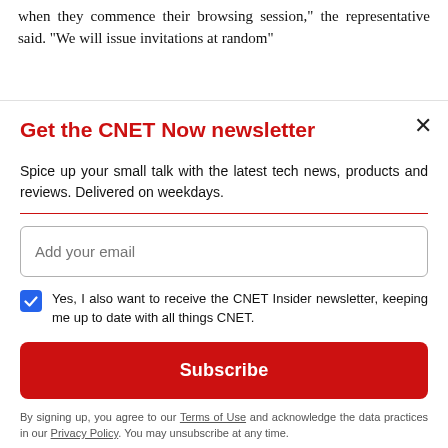when they commence their browsing session," the representative said. "We will issue invitations at random"
Get the CNET Now newsletter
Spice up your small talk with the latest tech news, products and reviews. Delivered on weekdays.
Add your email
Yes, I also want to receive the CNET Insider newsletter, keeping me up to date with all things CNET.
Subscribe
By signing up, you agree to our Terms of Use and acknowledge the data practices in our Privacy Policy. You may unsubscribe at any time.